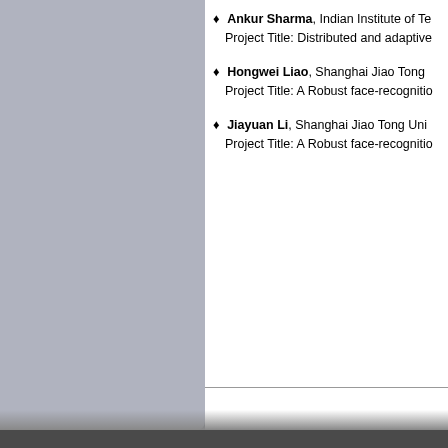♦ Ankur Sharma, Indian Institute of Te... Project Title: Distributed and adaptive...
♦ Hongwei Liao, Shanghai Jiao Tong... Project Title: A Robust face-recognitio...
♦ Jiayuan Li, Shanghai Jiao Tong Uni... Project Title: A Robust face-recognitio...